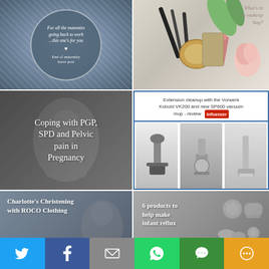[Figure (photo): Glittery silver/blue background with a grey circle containing italic text: 'For all the mummies going back to work ...this one's for you ♥ End of maternity leave post']
[Figure (photo): Flat lay of makeup items (brushes, compact, lipstick, rose) with text 'What's in my makeup bag?' in top right corner]
[Figure (photo): Black and white photo of pregnant woman with overlaid text 'Coping with PGP, SPD and Pelvic pain in Pregnancy']
[Figure (photo): Blog post thumbnail with blue border. Title: 'Extension cleanup with the Vorwerk Kobold VK200 and new SP600 vacuum mop - review' with logo and three product photos below]
[Figure (photo): Grey background image with white bold text 'Charlotte's Christening with ROCO Clothing' and a small child photo]
[Figure (photo): Grey background with text '6 products to help make infant reflux' and baby product images]
[Figure (infographic): Social share bar with buttons: Twitter (blue), Facebook (dark blue), Email (grey), WhatsApp (green), SMS (green), More (orange)]